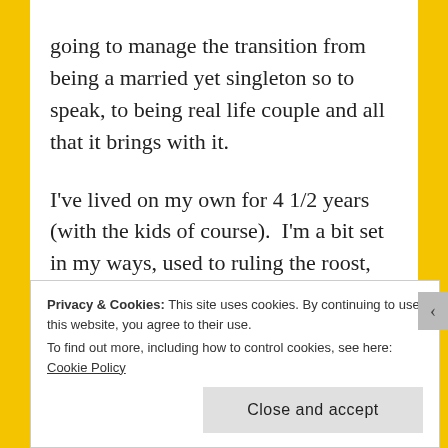going to manage the transition from being a married yet singleton so to speak, to being real life couple and all that it brings with it.

I've lived on my own for 4 1/2 years (with the kids of course).  I'm a bit set in my ways, used to ruling the roost, making my own decisions, getting my own way pretty much all of the time (except when the kids pester power gets the better of me). Mr Daly is here only a couple of days a week, and as such has little impact on the way I go about everyday life, but there are the odd couple of things that I've had to
Privacy & Cookies: This site uses cookies. By continuing to use this website, you agree to their use.
To find out more, including how to control cookies, see here: Cookie Policy
Close and accept